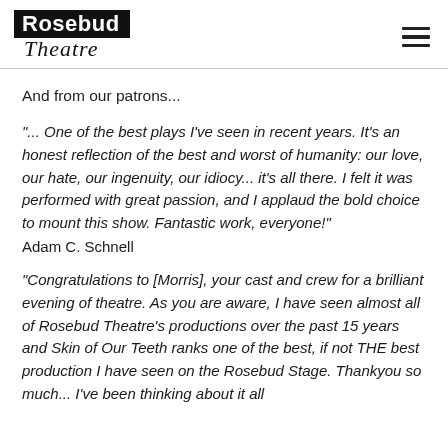[Figure (logo): Rosebud Theatre logo with 'Rosebud' in white on black block and 'Theatre' in italic script below, plus hamburger menu icon on the right]
And from our patrons...
"... One of the best plays I've seen in recent years. It's an honest reflection of the best and worst of humanity: our love, our hate, our ingenuity, our idiocy... it's all there. I felt it was performed with great passion, and I applaud the bold choice to mount this show. Fantastic work, everyone!"
Adam C. Schnell
"Congratulations to [Morris], your cast and crew for a brilliant evening of theatre. As you are aware, I have seen almost all of Rosebud Theatre's productions over the past 15 years and Skin of Our Teeth ranks one of the best, if not THE best production I have seen on the Rosebud Stage. Thankyou so much... I've been thinking about it all